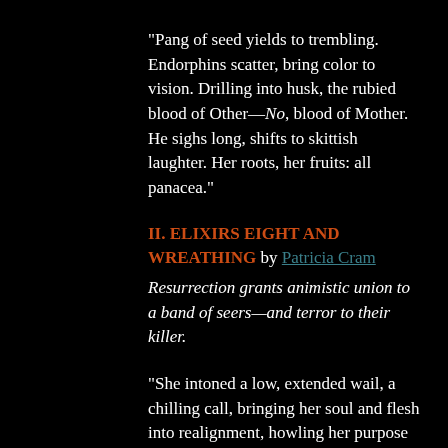“Pang of seed yields to trembling. Endorphins scatter, bring color to vision. Drilling into husk, the rubied blood of Other—No, blood of Mother. He sighs long, shifts to skittish laughter. Her roots, her fruits: all panacea.”
II. ELIXIRS EIGHT AND WREATHING by Patricia Cram
Resurrection grants animistic union to a band of seers—and terror to their killer.
“She intoned a low, extended wail, a chilling call, bringing her soul and flesh into realignment, howling her purpose into form. The trees shook